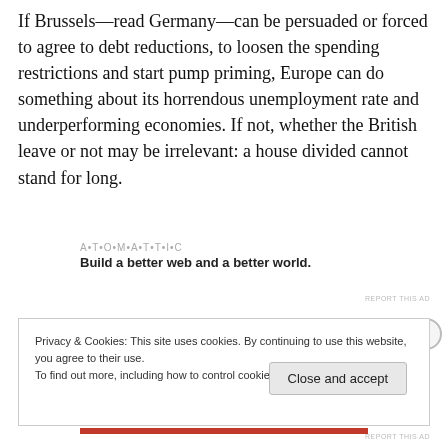If Brussels—read Germany—can be persuaded or forced to agree to debt reductions, to loosen the spending restrictions and start pump priming, Europe can do something about its horrendous unemployment rate and underperforming economies. If not, whether the British leave or not may be irrelevant: a house divided cannot stand for long.
[Figure (other): Automattic advertisement: logo text 'AUTOMATTIC' and tagline 'Build a better web and a better world.']
Privacy & Cookies: This site uses cookies. By continuing to use this website, you agree to their use. To find out more, including how to control cookies, see here: Cookie Policy
Close and accept